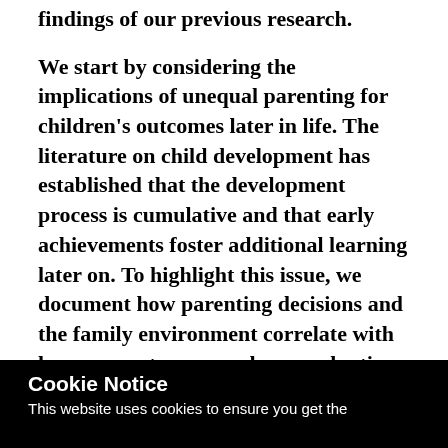findings of our previous research.
We start by considering the implications of unequal parenting for children's outcomes later in life. The literature on child development has established that the development process is cumulative and that early achievements foster additional learning later on. To highlight this issue, we document how parenting decisions and the family environment correlate with long-run outcomes such as graduating from college. In our analysis, we touch upon a dimension that is less salient in the two chapters: parenting style. We show that parenting style is not a mere by-product of families' socio-economic status. Rather, it is associated with children's outcomes in a way that is distinct from the influence of socio-
Cookie Notice
This website uses cookies to ensure you get the best